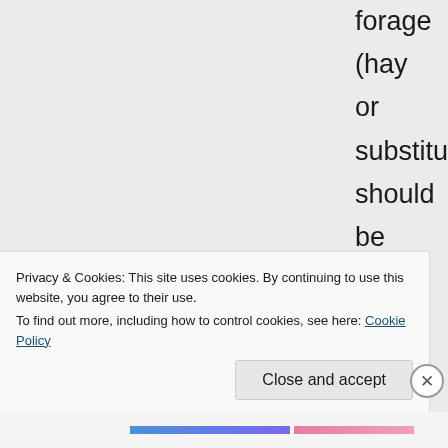forage (hay or substitute) should be more than 50% of the diet, if you are giving her six pounds of grain she should be eating in excess of 12 pounds of hay per day. If you think she needs that much
Privacy & Cookies: This site uses cookies. By continuing to use this website, you agree to their use.
To find out more, including how to control cookies, see here: Cookie Policy